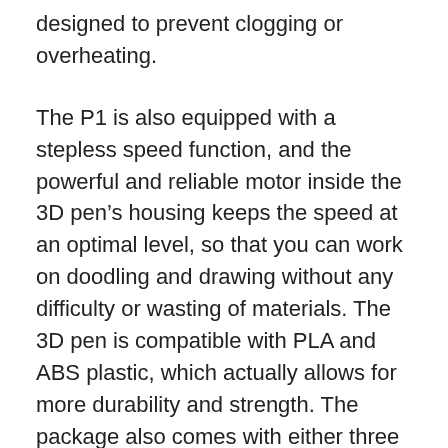designed to prevent clogging or overheating.
The P1 is also equipped with a stepless speed function, and the powerful and reliable motor inside the 3D pen’s housing keeps the speed at an optimal level, so that you can work on doodling and drawing without any difficulty or wasting of materials. The 3D pen is compatible with PLA and ABS plastic, which actually allows for more durability and strength. The package also comes with either three or ten colors of PLA plastic filaments, so that you don’t have to buy them separately.
Moreover, the P1 3D pen features a power